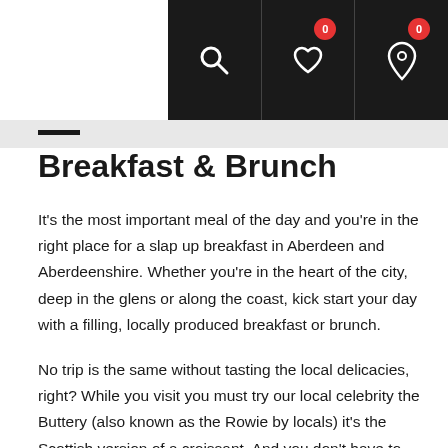Navigation bar with search, wishlist (0), and location (0) icons
Breakfast & Brunch
It's the most important meal of the day and you're in the right place for a slap up breakfast in Aberdeen and Aberdeenshire. Whether you're in the heart of the city, deep in the glens or along the coast, kick start your day with a filling, locally produced breakfast or brunch.
No trip is the same without tasting the local delicacies, right? While you visit you must try our local celebrity the Buttery (also known as the Rowie by locals) it's the Scottish version of a croissant. And you don't have to look far for one here being a regular feature on breakfast menus across North-east Scotland ready to be lathered in